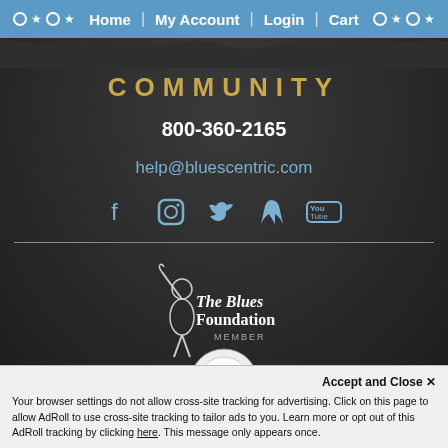Home | My Account | Login | Cart
COMMUNITY
800-360-2165
help@bluescentric.com
[Figure (illustration): Social media icons: Facebook, Instagram, Twitter, Pinterest, YouTube]
[Figure (logo): The Blues Foundation MEMBER logo with guitarist silhouette]
[Figure (logo): Positive SSL Secured Website badge]
Accept and Close ✕
Your browser settings do not allow cross-site tracking for advertising. Click on this page to allow AdRoll to use cross-site tracking to tailor ads to you. Learn more or opt out of this AdRoll tracking by clicking here. This message only appears once.